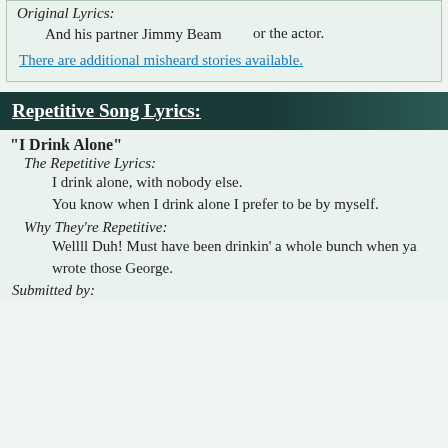Original Lyrics: And his partner Jimmy Beam
or the actor.
There are additional misheard stories available.
Repetitive Song Lyrics:
"I Drink Alone"
The Repetitive Lyrics:
I drink alone, with nobody else. You know when I drink alone I prefer to be by myself.
Why They're Repetitive:
Wellll Duh! Must have been drinkin' a whole bunch when ya wrote those George.
Submitted by: